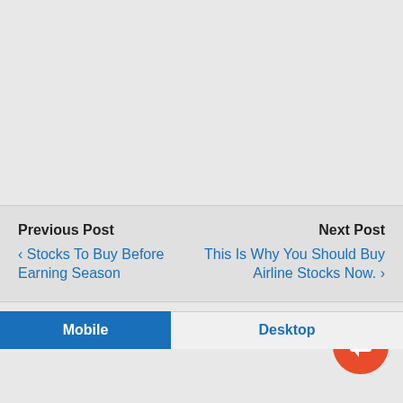Previous Post
‹ Stocks To Buy Before Earning Season
Next Post
This Is Why You Should Buy Airline Stocks Now. ›
⋀ Back to top
Mobile
Desktop